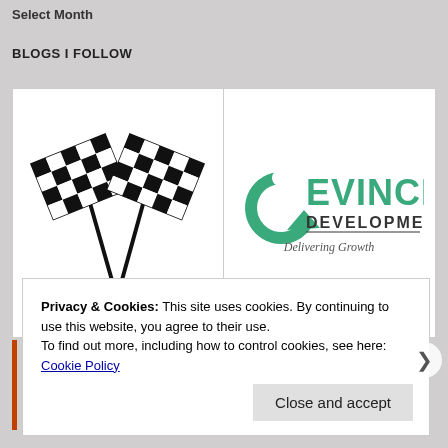Select Month
BLOGS I FOLLOW
[Figure (logo): Two crossed checkered racing flags (black and white)]
[Figure (logo): Devince Development logo with green text and tagline 'Delivering Growth']
Privacy & Cookies: This site uses cookies. By continuing to use this website, you agree to their use.
To find out more, including how to control cookies, see here: Cookie Policy
Close and accept